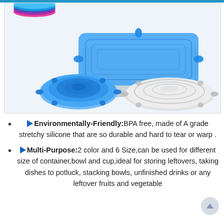[Figure (photo): Photo of silicone stretch lids: a blue silicone lid on a rectangular glass container (top), a blue round silicone lid (bottom left), and a white/clear round silicone lid (bottom right), with colorful stacked lids visible top-left corner.]
▶Environmentally-Friendly:BPA free, made of A grade stretchy silicone that are so durable and hard to tear or warp .
▶Multi-Purpose:2 color and 6 Size,can be used for different size of container,bowl and cup,ideal for storing leftovers, taking dishes to potluck, stacking bowls, unfinished drinks or any leftover fruits and vegetable